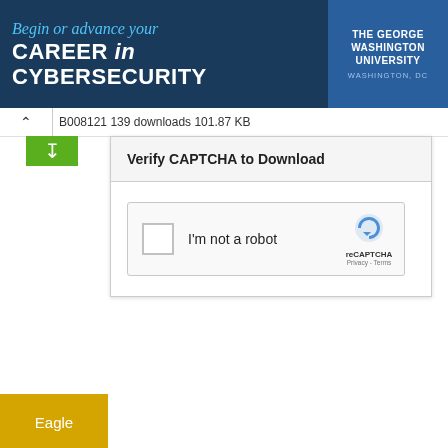[Figure (screenshot): University advertisement banner: 'Begin or advance your CAREER in CYBERSECURITY' with The George Washington University logo on right]
B008121 139 downloads 101.87 KB
Verify CAPTCHA to Download
[Figure (screenshot): reCAPTCHA widget with checkbox and 'I'm not a robot' label]
Eagle